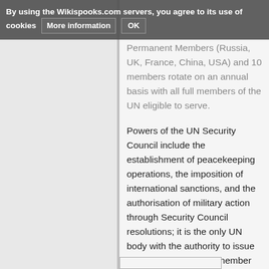By using the Wikispooks.com servers, you agree to its use of cookies   More information   OK
Permanent Members (Russia, UK, France, China, USA) and 10 members rotate on an annual basis with all full members of the UN eligible to serve.
Powers of the UN Security Council include the establishment of peacekeeping operations, the imposition of international sanctions, and the authorisation of military action through Security Council resolutions; it is the only UN body with the authority to issue binding resolutions to member states. The UNSC held its first session on 17 January 1946.